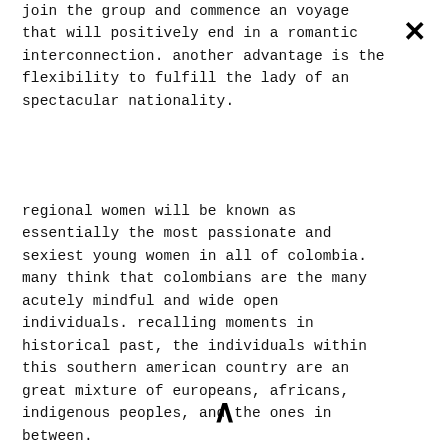join the group and commence an voyage that will positively end in a romantic interconnection. another advantage is the flexibility to fulfill the lady of an spectacular nationality.
regional women will be known as essentially the most passionate and sexiest young women in all of colombia. many think that colombians are the many acutely mindful and wide open individuals. recalling moments in historical past, the individuals within this southern american country are an great mixture of europeans, africans, indigenous peoples, and the ones in between.